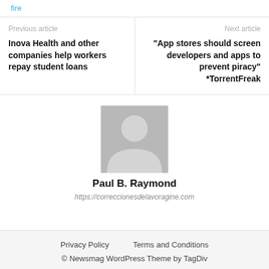fire
Previous article
Inova Health and other companies help workers repay student loans
Next article
“App stores should screen developers and apps to prevent piracy” *TorrentFreak
[Figure (illustration): Generic avatar placeholder image showing a grey silhouette of a person on a grey background]
Paul B. Raymond
https://correccionesdelavoragine.com
Privacy Policy   Terms and Conditions
© Newsmag WordPress Theme by TagDiv